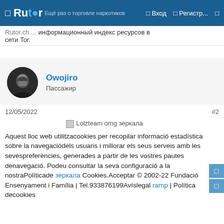Rutor | Вход | Регистр...
информационный индекс сети Tor.
Owojiro
Пассажир
12/05/2022  #2
[Figure (other): Broken image placeholder: Lolzteam omg зеркала]
Aquest lloc web utilitzacookies per recopilar informació estadística sobre la navegaciódels usuaris i millorar els seus serveis amb les sevespreferències, generades a partir de les vostres pautes denavegació. Podeu consultar la seva configuració a la nostraPolíticade зеркала Cookies.Acceptar © 2002-22 Fundació Ensenyament i Família | Tel.933876199Avíslegal ramp | Política decookies